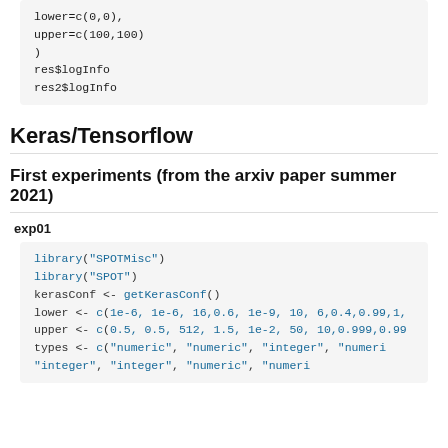lower=c(0,0),
            upper=c(100,100)
)
res$logInfo
res2$logInfo
Keras/Tensorflow
First experiments (from the arxiv paper summer 2021)
exp01
library("SPOTMisc")
library("SPOT")
kerasConf <- getKerasConf()
lower <- c(1e-6, 1e-6, 16,0.6, 1e-9, 10, 6,0.4,0.99,1,
upper <- c(0.5, 0.5, 512, 1.5, 1e-2, 50, 10,0.999,0.99
types <- c("numeric",  "numeric",  "integer",  "numeri
           "integer",  "integer",  "numeric",  "numeri